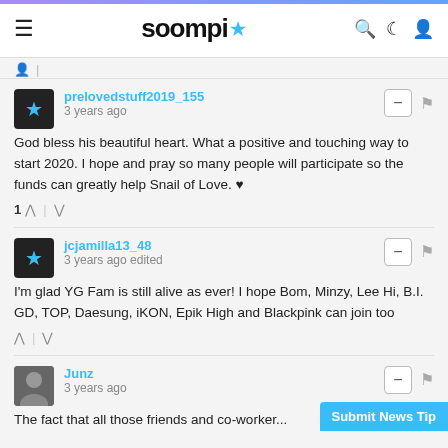soompi
prelovedstuff2019_155
3 years ago
God bless his beautiful heart. What a positive and touching way to start 2020. I hope and pray so many people will participate so the funds can greatly help Snail of Love. ♥
jcjamilla13_48
3 years ago edited
I'm glad YG Fam is still alive as ever! I hope Bom, Minzy, Lee Hi, B.I. GD, TOP, Daesung, iKON, Epik High and Blackpink can join too
Junz
3 years ago
The fact that all those friends and co-worker...